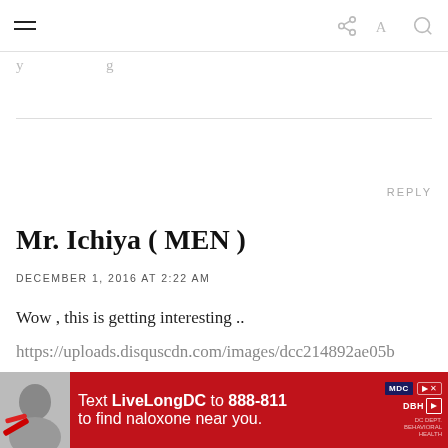[hamburger menu] [share] [font-size] [search]
y     g
REPLY
Mr. Ichiya ( MEN )
DECEMBER 1, 2016 AT 2:22 AM
Wow , this is getting interesting ..
https://uploads.disquscdn.com/images/dcc214892ae05b
[Figure (other): Expand/collapse chevron button]
[Figure (infographic): Red advertisement banner: Text LiveLongDC to 888-811 to find naloxone near you. Shows a person and DC/DBH logos.]